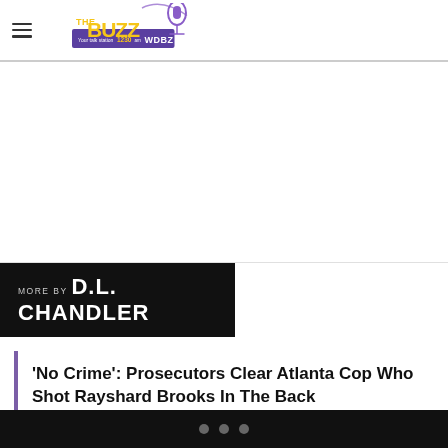The Buzz WDBZ 1230am
[Figure (logo): The Buzz WDBZ 1230am radio station logo with microphone graphic]
MORE BY D.L. CHANDLER
'No Crime': Prosecutors Clear Atlanta Cop Who Shot Rayshard Brooks In The Back
Remembering Bill Russell's Towering Legacy In Sports